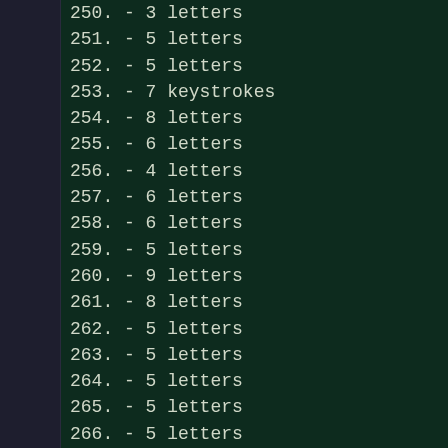250. - 3 letters
251. - 5 letters
252. - 5 letters
253. - 7 keystrokes
254. - 8 letters
255. - 6 letters
256. - 4 letters
257. - 6 letters
258. - 6 letters
259. - 5 letters
260. - 9 letters
261. - 8 letters
262. - 5 letters
263. - 5 letters
264. - 5 letters
265. - 5 letters
266. - 5 letters
267. - 10 letters
268. - 8 symbols
269. - 10 letters
270. - 5 letters